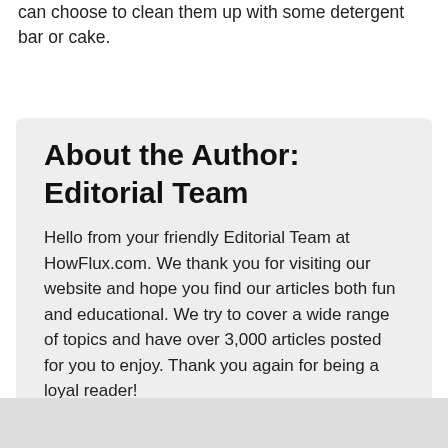soaked up in water containing this powder and then you can choose to clean them up with some detergent bar or cake.
About the Author: Editorial Team
Hello from your friendly Editorial Team at HowFlux.com. We thank you for visiting our website and hope you find our articles both fun and educational. We try to cover a wide range of topics and have over 3,000 articles posted for you to enjoy. Thank you again for being a loyal reader!